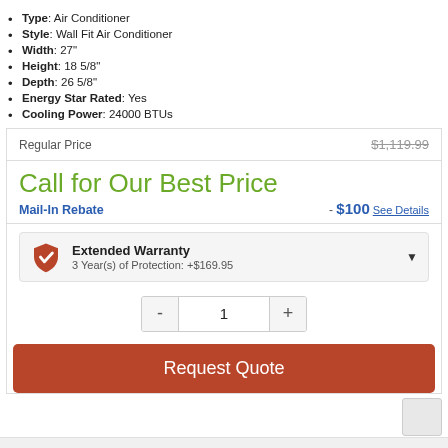Type: Air Conditioner
Style: Wall Fit Air Conditioner
Width: 27"
Height: 18 5/8"
Depth: 26 5/8"
Energy Star Rated: Yes
Cooling Power: 24000 BTUs
Regular Price $1,119.99
Call for Our Best Price
Mail-In Rebate - $100 See Details
Extended Warranty 3 Year(s) of Protection: +$169.95
1
Request Quote